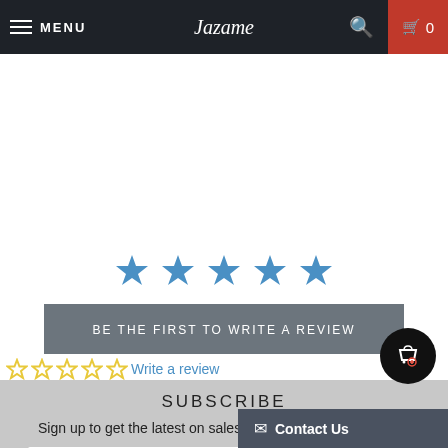MENU | Jazame | Search | Cart 0
[Figure (other): Five yellow outline star rating icons in top-left area]
[Figure (other): Five solid blue star rating icons centered on page]
BE THE FIRST TO WRITE A REVIEW
Write a review
SUBSCRIBE
Sign up to get the latest on sales, new releases and more ...
Enter your email address...
Contact Us